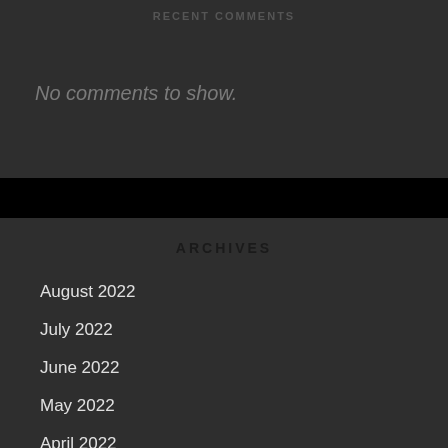RECENT COMMENTS
No comments to show.
ARCHIVES
August 2022
July 2022
June 2022
May 2022
April 2022
March 2022